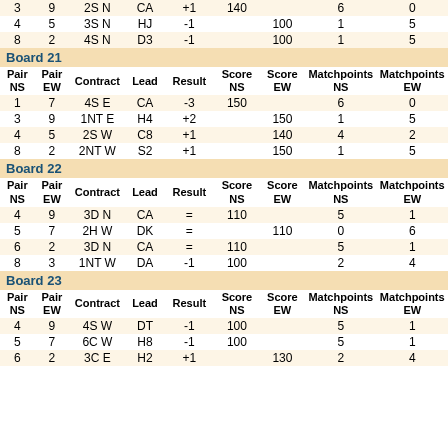| Pair NS | Pair EW | Contract | Lead | Result | Score NS | Score EW | Matchpoints NS | Matchpoints EW |
| --- | --- | --- | --- | --- | --- | --- | --- | --- |
| 3 | 9 | 2S N | CA | +1 | 140 |  | 6 | 0 |
| 4 | 5 | 3S N | HJ | -1 |  | 100 | 1 | 5 |
| 8 | 2 | 4S N | D3 | -1 |  | 100 | 1 | 5 |
Board 21
| Pair NS | Pair EW | Contract | Lead | Result | Score NS | Score EW | Matchpoints NS | Matchpoints EW |
| --- | --- | --- | --- | --- | --- | --- | --- | --- |
| 1 | 7 | 4S E | CA | -3 | 150 |  | 6 | 0 |
| 3 | 9 | 1NT E | H4 | +2 |  | 150 | 1 | 5 |
| 4 | 5 | 2S W | C8 | +1 |  | 140 | 4 | 2 |
| 8 | 2 | 2NT W | S2 | +1 |  | 150 | 1 | 5 |
Board 22
| Pair NS | Pair EW | Contract | Lead | Result | Score NS | Score EW | Matchpoints NS | Matchpoints EW |
| --- | --- | --- | --- | --- | --- | --- | --- | --- |
| 4 | 9 | 3D N | CA | = | 110 |  | 5 | 1 |
| 5 | 7 | 2H W | DK | = |  | 110 | 0 | 6 |
| 6 | 2 | 3D N | CA | = | 110 |  | 5 | 1 |
| 8 | 3 | 1NT W | DA | -1 | 100 |  | 2 | 4 |
Board 23
| Pair NS | Pair EW | Contract | Lead | Result | Score NS | Score EW | Matchpoints NS | Matchpoints EW |
| --- | --- | --- | --- | --- | --- | --- | --- | --- |
| 4 | 9 | 4S W | DT | -1 | 100 |  | 5 | 1 |
| 5 | 7 | 6C W | H8 | -1 | 100 |  | 5 | 1 |
| 6 | 2 | 3C E | H2 | +1 |  | 130 | 2 | 4 |